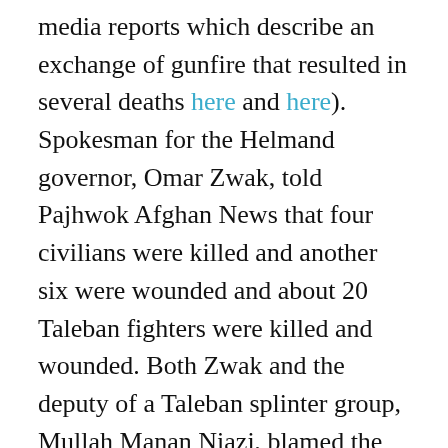media reports which describe an exchange of gunfire that resulted in several deaths here and here). Spokesman for the Helmand governor, Omar Zwak, told Pajhwok Afghan News that four civilians were killed and another six were wounded and about 20 Taleban fighters were killed and wounded. Both Zwak and the deputy of a Taleban splinter group, Mullah Manan Niazi, blamed the Taleban, claiming that they had given land that belonged to the Alizais to the Ishaqzai. The Taleban reject this claim.
According to local sources from Nawzad who currently reside in Greshk, the disputed land is